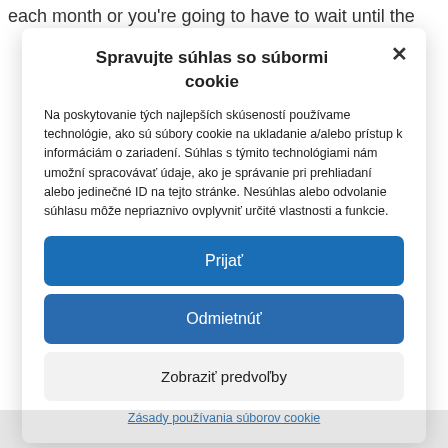each month or you're going to have to wait until the
Spravujte súhlas so súbormi cookie
Na poskytovanie tých najlepších skúseností používame technológie, ako sú súbory cookie na ukladanie a/alebo prístup k informáciám o zariadení. Súhlas s týmito technológiami nám umožní spracovávať údaje, ako je správanie pri prehliadaní alebo jedinečné ID na tejto stránke. Nesúhlas alebo odvolanie súhlasu môže nepriaznivo ovplyvniť určité vlastnosti a funkcie.
Prijať
Odmietnúť
Zobraziť predvoľby
Zásady používania súborov cookie